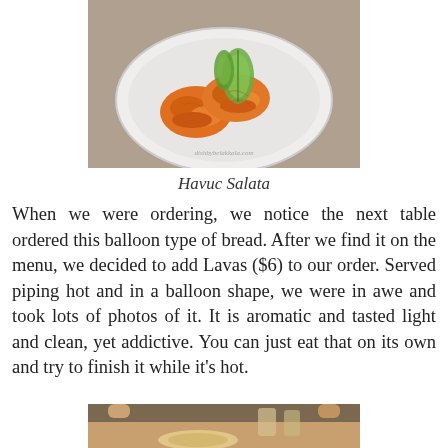[Figure (photo): A white plate with two mounds of orange carrot salad topped with sliced cucumber, on a wooden surface. Watermark: dishbybelakkala.com]
Havuc Salata
When we were ordering, we notice the next table ordered this balloon type of bread. After we find it on the menu, we decided to add Lavas ($6) to our order. Served piping hot and in a balloon shape, we were in awe and took lots of photos of it. It is aromatic and tasted light and clean, yet addictive. You can just eat that on its own and try to finish it while it's hot.
[Figure (photo): Bottom portion of a photo showing a table with food and drinks, partially visible.]